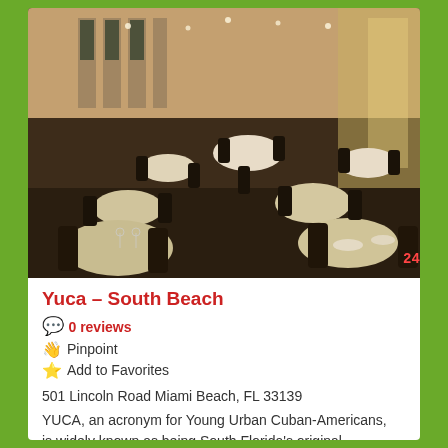[Figure (photo): Interior of Yuca restaurant in South Beach showing dining room with white tableclothed round tables, dark chairs, tall windows, warm lighting, and timestamp overlay reading '24 8:58PM' in red]
Yuca – South Beach
0 reviews
Pinpoint
Add to Favorites
501 Lincoln Road Miami Beach, FL 33139
YUCA, an acronym for Young Urban Cuban-Americans, is widely known as being South Florida's original
read more →